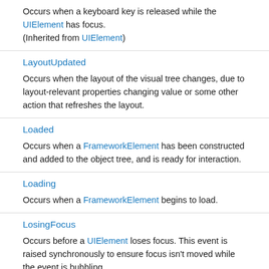Occurs when a keyboard key is released while the UIElement has focus.
(Inherited from UIElement)
LayoutUpdated
Occurs when the layout of the visual tree changes, due to layout-relevant properties changing value or some other action that refreshes the layout.
Loaded
Occurs when a FrameworkElement has been constructed and added to the object tree, and is ready for interaction.
Loading
Occurs when a FrameworkElement begins to load.
LosingFocus
Occurs before a UIElement loses focus. This event is raised synchronously to ensure focus isn't moved while the event is bubbling.